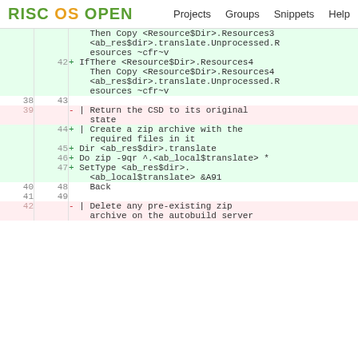RISC OS OPEN  Projects  Groups  Snippets  Help
Code diff view showing file changes with line numbers and added/removed lines for a RISC OS build script